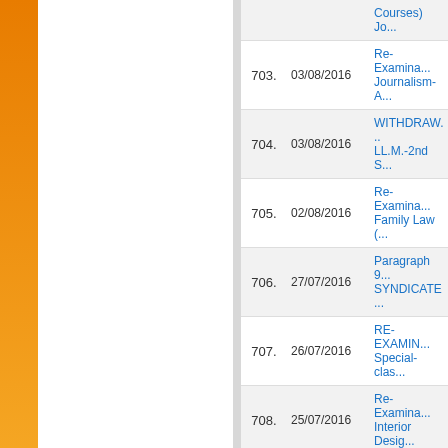| No. | Date | Description |
| --- | --- | --- |
| 703. | 03/08/2016 | Re-Examina... Journalism-A... |
| 704. | 03/08/2016 | WITHDRAW... LL.M.-2nd S... |
| 705. | 02/08/2016 | Re-Examina... Family Law (... |
| 706. | 27/07/2016 | Paragraph 9... SYNDICATE... |
| 707. | 26/07/2016 | RE-EXAMIN... Special-clas... |
| 708. | 25/07/2016 | Re-Examina... Interior Desig... |
| 709. | 25/07/2016 | ADDITIONS... (SPECIAL-C... (July-August... |
| 710. | 22/07/2016 | CHANGE: B... Clash-Medic... |
| 711. | 19/07/2016 | PULEET- 20... |
| 712. | 14/07/2016 | ADDITION: ... Examination... |